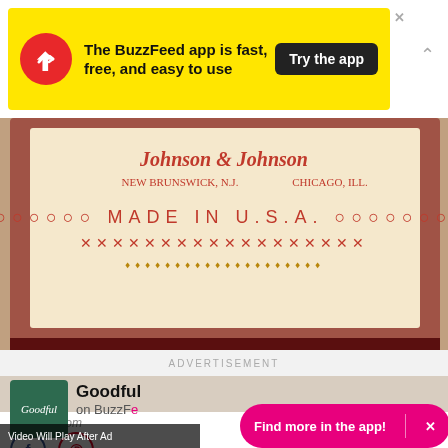[Figure (screenshot): BuzzFeed app advertisement banner with yellow background, BuzzFeed red circle logo with white arrow, text 'The BuzzFeed app is fast, free, and easy to use', black 'Try the app' button, X close button, and upward chevron]
[Figure (photo): Close-up photo of bottom of a vintage Johnson & Johnson product bottle showing label text: 'Johnson & Johnson, New Brunswick N.J., Chicago Ill.' and 'Made in U.S.A.' with decorative red circles and X pattern border]
pinterest.com
[Figure (screenshot): Social sharing buttons: Facebook icon (blue circle outline with f) and Pinterest icon (red circle outline with P)]
ADVERTISEMENT
[Figure (logo): Goodful logo: dark green square with 'Goodful' in white italic script]
Goodful on BuzzFeed
[Figure (screenshot): Pink rounded pill button reading 'Find more in the app!' with vertical divider and X close button]
Video Will Play After Ad